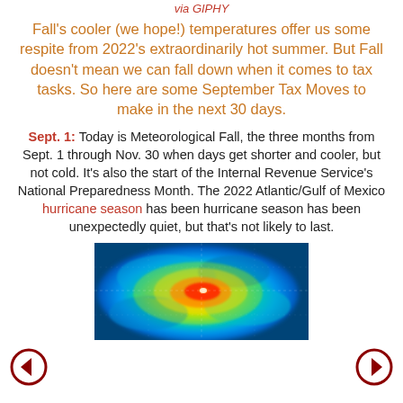via GIPHY
Fall's cooler (we hope!) temperatures offer us some respite from 2022's extraordinarily hot summer. But Fall doesn't mean we can fall down when it comes to tax tasks. So here are some September Tax Moves to make in the next 30 days.
Sept. 1: Today is Meteorological Fall, the three months from Sept. 1 through Nov. 30 when days get shorter and cooler, but not cold. It's also the start of the Internal Revenue Service's National Preparedness Month. The 2022 Atlantic/Gulf of Mexico hurricane season has been hurricane season has been unexpectedly quiet, but that's not likely to last.
[Figure (photo): Satellite image of a hurricane/tropical storm showing colorful radar bands — blue, green, yellow, red — swirling around an eye, with a crosshair grid overlay.]